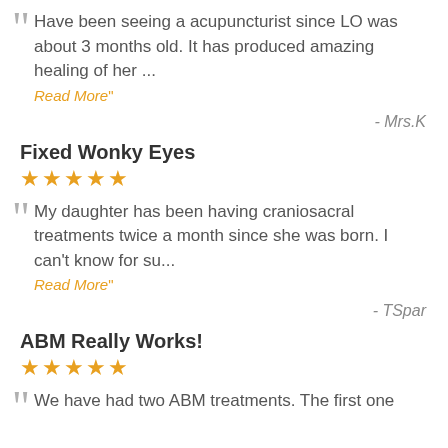Have been seeing a acupuncturist since LO was about 3 months old. It has produced amazing healing of her ... Read More"
- Mrs.K
Fixed Wonky Eyes
★★★★★
My daughter has been having craniosacral treatments twice a month since she was born. I can't know for su... Read More"
- TSpar
ABM Really Works!
★★★★★
We have had two ABM treatments. The first one